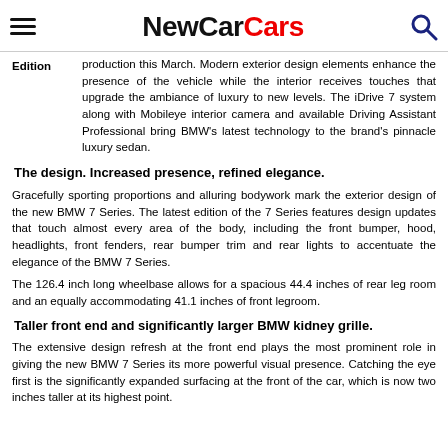NewCarCars
Edition   production this March. Modern exterior design elements enhance the presence of the vehicle while the interior receives touches that upgrade the ambiance of luxury to new levels. The iDrive 7 system along with Mobileye interior camera and available Driving Assistant Professional bring BMW's latest technology to the brand's pinnacle luxury sedan.
The design. Increased presence, refined elegance.
Gracefully sporting proportions and alluring bodywork mark the exterior design of the new BMW 7 Series. The latest edition of the 7 Series features design updates that touch almost every area of the body, including the front bumper, hood, headlights, front fenders, rear bumper trim and rear lights to accentuate the elegance of the BMW 7 Series.
The 126.4 inch long wheelbase allows for a spacious 44.4 inches of rear leg room and an equally accommodating 41.1 inches of front legroom.
Taller front end and significantly larger BMW kidney grille.
The extensive design refresh at the front end plays the most prominent role in giving the new BMW 7 Series its more powerful visual presence. Catching the eye first is the significantly expanded surfacing at the front of the car, which is now two inches taller at its highest point.